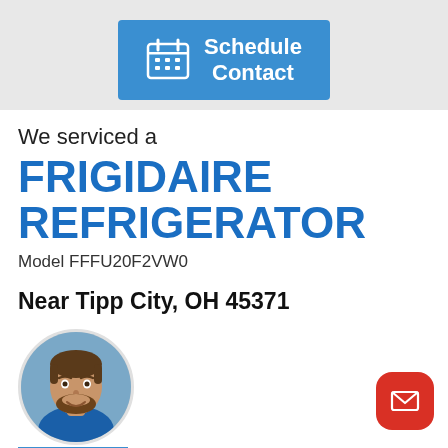[Figure (screenshot): Blue 'Schedule Contact' button with calendar icon on gray background]
We serviced a
FRIGIDAIRE REFRIGERATOR
Model FFFU20F2VW0
Near Tipp City, OH 45371
[Figure (photo): Circular photo of technician Steve, a man with beard wearing blue shirt]
Steve